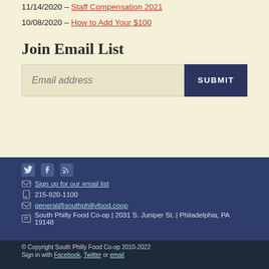11/14/2020 – Staff Compensation 2021
10/08/2020 – How to Add Your $100
Join Email List
Email address
SUBMIT
[Figure (other): Social media icons: Twitter, Facebook, RSS]
Sign up for our email list
215-920-1100
general@southphillyfood.coop
South Philly Food Co-op | 2031 S. Juniper St. | Philadelphia, PA 19148
© Copyright South Philly Food Co-op 2010-2022
Sign in with Facebook, Twitter or email